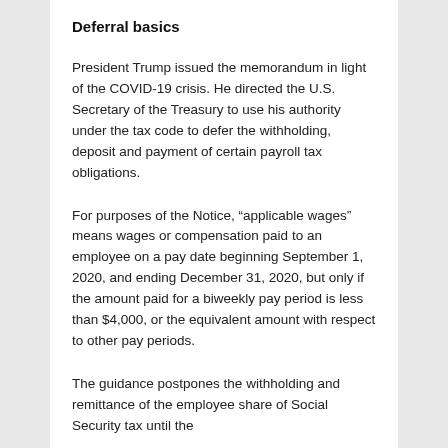Deferral basics
President Trump issued the memorandum in light of the COVID-19 crisis. He directed the U.S. Secretary of the Treasury to use his authority under the tax code to defer the withholding, deposit and payment of certain payroll tax obligations.
For purposes of the Notice, “applicable wages” means wages or compensation paid to an employee on a pay date beginning September 1, 2020, and ending December 31, 2020, but only if the amount paid for a biweekly pay period is less than $4,000, or the equivalent amount with respect to other pay periods.
The guidance postpones the withholding and remittance of the employee share of Social Security tax until the